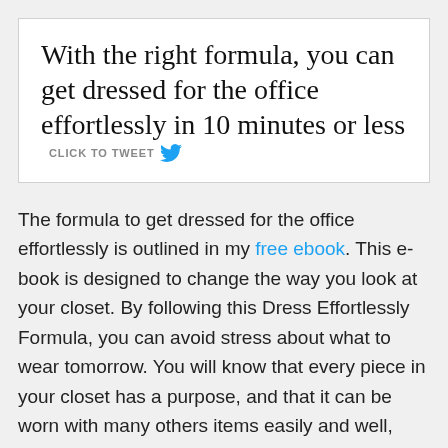With the right formula, you can get dressed for the office effortlessly in 10 minutes or less  CLICK TO TWEET
The formula to get dressed for the office effortlessly is outlined in my free ebook. This e-book is designed to change the way you look at your closet. By following this Dress Effortlessly Formula, you can avoid stress about what to wear tomorrow. You will know that every piece in your closet has a purpose, and that it can be worn with many others items easily and well,